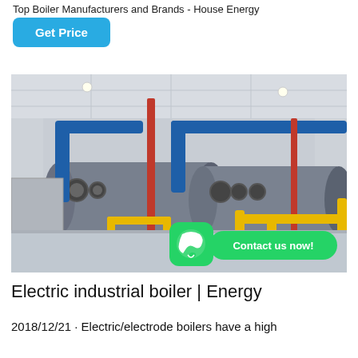Top Boiler Manufacturers and Brands - House Energy
Get Price
[Figure (photo): Industrial boiler room with large blue cylindrical boilers, yellow and red piping systems, in a white-walled facility. WhatsApp contact button overlay at bottom right.]
Electric industrial boiler | Energy
2018/12/21 · Electric/electrode boilers have a high